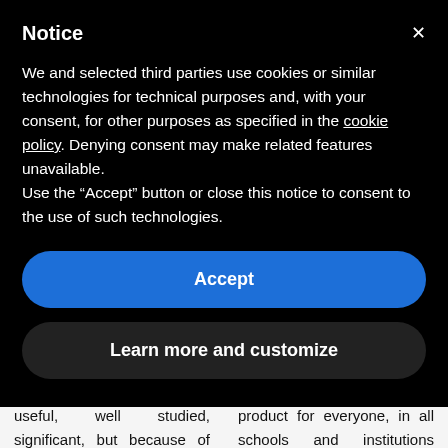Notice
We and selected third parties use cookies or similar technologies for technical purposes and, with your consent, for other purposes as specified in the cookie policy. Denying consent may make related features unavailable.
Use the “Accept” button or close this notice to consent to the use of such technologies.
Accept
Learn more and customize
useful, well studied, significant, but because of the limited number of users, it is a programs that can not be born by large companies, there is no economic
guaranteeing a useful product for everyone, in all schools and institutions where there are blind music students.